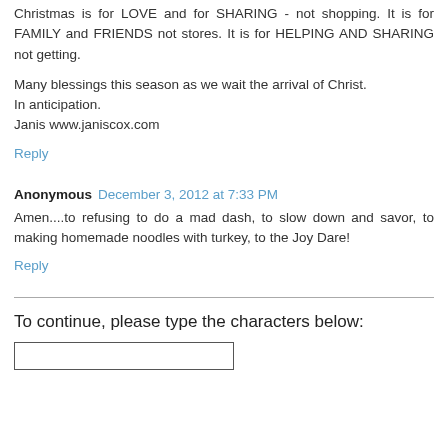Christmas is for LOVE and for SHARING - not shopping. It is for FAMILY and FRIENDS not stores. It is for HELPING AND SHARING not getting.
Many blessings this season as we wait the arrival of Christ. In anticipation.
Janis www.janiscox.com
Reply
Anonymous  December 3, 2012 at 7:33 PM
Amen....to refusing to do a mad dash, to slow down and savor, to making homemade noodles with turkey, to the Joy Dare!
Reply
To continue, please type the characters below: